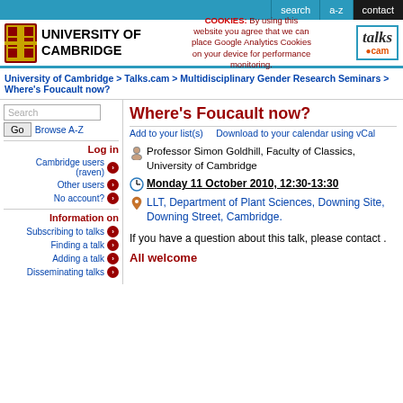search   a-z   contact
[Figure (logo): University of Cambridge logo with shield and name, cookie notice, and Talks.cam logo]
University of Cambridge > Talks.cam > Multidisciplinary Gender Research Seminars > Where's Foucault now?
Search Go Browse A-Z
Log in
Cambridge users (raven)
Other users
No account?
Information on
Subscribing to talks
Finding a talk
Adding a talk
Disseminating talks
Where's Foucault now?
Add to your list(s)    Download to your calendar using vCal
Professor Simon Goldhill, Faculty of Classics, University of Cambridge
Monday 11 October 2010, 12:30-13:30
LLT, Department of Plant Sciences, Downing Site, Downing Street, Cambridge.
If you have a question about this talk, please contact .
All welcome